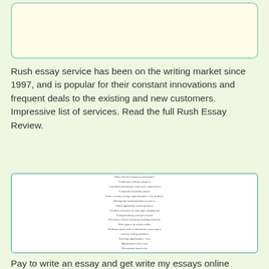[Figure (other): Light yellow rounded rectangle box at the top of the page, empty content area]
Rush essay service has been on the writing market since 1997, and is popular for their constant innovations and frequent deals to the existing and new customers. Impressive list of services. Read the full Rush Essay Review.
[Figure (screenshot): White box with small illegible text listing various essay writing services and topics, centered in a teal-bordered rectangle]
Pay to write an essay and get write my essays online